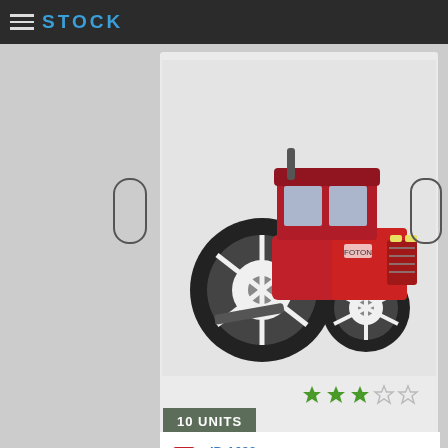STOCK
[Figure (photo): A red Foton tractor with large black tires, viewed from the front-left angle, on a light gray background. 3-star rating shown below.]
10 UNITS
ID:1692
Manufactured by: Foton MORE INFO
EXMOD-UK.COM LATEST